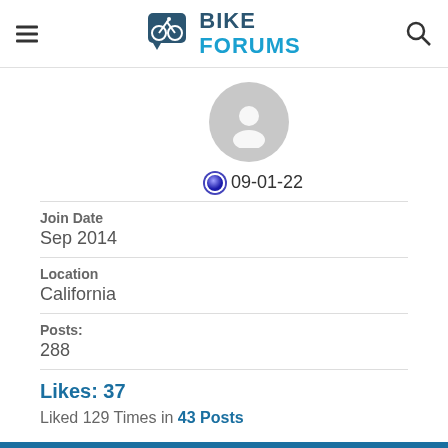BIKE FORUMS
[Figure (logo): Bike Forums logo with cyclist icon and BIKE FORUMS text]
09-01-22
Join Date
Sep 2014
Location
California
Posts:
288
Likes: 37
Liked 129 Times in 43 Posts